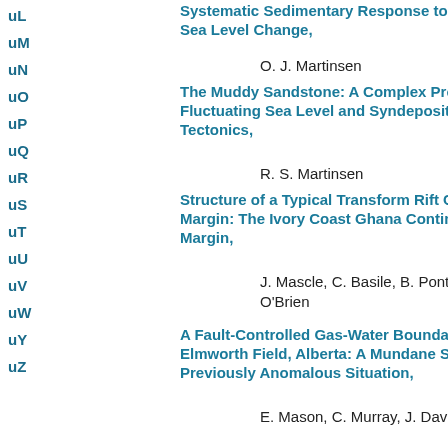uL
uM
uN
uO
uP
uQ
uR
uS
uT
uU
uV
uW
uY
uZ
Systematic Sedimentary Response to Sea Level Change,
O. J. Martinsen
The Muddy Sandstone: A Complex Product of Fluctuating Sea Level and Syndepositional Tectonics,
R. S. Martinsen
Structure of a Typical Transform Rift Continental Margin: The Ivory Coast Ghana Continental Margin,
J. Mascle, C. Basile, B. Pontoise, F. S. O'Brien
A Fault-Controlled Gas-Water Boundary in Elmworth Field, Alberta: A Mundane Solution to a Previously Anomalous Situation,
E. Mason, C. Murray, J. Davidson, and